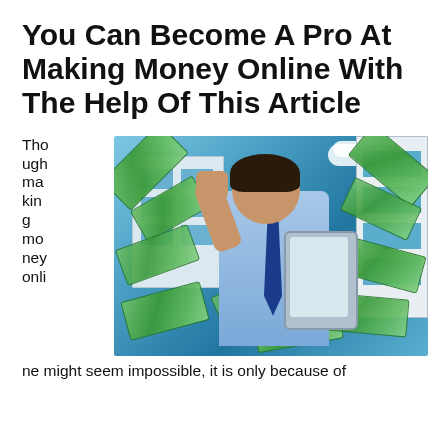You Can Become A Pro At Making Money Online With The Help Of This Article
[Figure (photo): A man in a blue dress shirt and tie holding a tablet, smiling with fist raised, surrounded by flying dollar bills, with a building and blue sky in the background.]
Though making money online might seem impossible, it is only because of